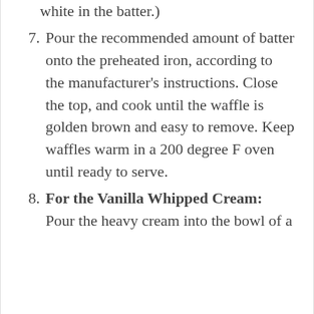(continuation) white in the batter.)
7. Pour the recommended amount of batter onto the preheated iron, according to the manufacturer's instructions. Close the top, and cook until the waffle is golden brown and easy to remove. Keep waffles warm in a 200 degree F oven until ready to serve.
8. For the Vanilla Whipped Cream: Pour the heavy cream into the bowl of a